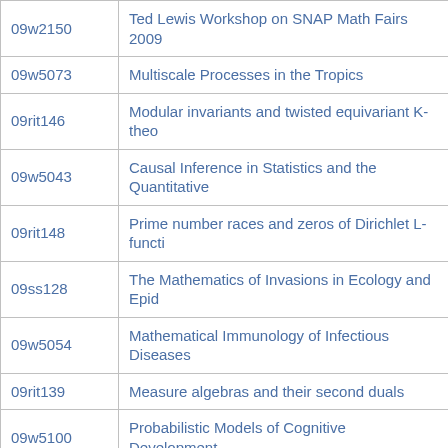| Code | Title |
| --- | --- |
| 09w2150 | Ted Lewis Workshop on SNAP Math Fairs 2009 |
| 09w5073 | Multiscale Processes in the Tropics |
| 09rit146 | Modular invariants and twisted equivariant K-theo… |
| 09w5043 | Causal Inference in Statistics and the Quantitative… |
| 09rit148 | Prime number races and zeros of Dirichlet L-functi… |
| 09ss128 | The Mathematics of Invasions in Ecology and Epid… |
| 09w5054 | Mathematical Immunology of Infectious Diseases |
| 09rit139 | Measure algebras and their second duals |
| 09w5100 | Probabilistic Models of Cognitive Development |
| 09w5033 | Complex Analysis and Complex Geometry |
| 09w2151 | SNAP math fairs in MATH 160 |
| 09w5004 | Advances in Stochastic Inequalities and their Appl… |
| 09w5092 | The Keith Worsley workshop on Computational M… stochastic models to Neuroimages |
| 09frg149 | Indecomposable binary structures |